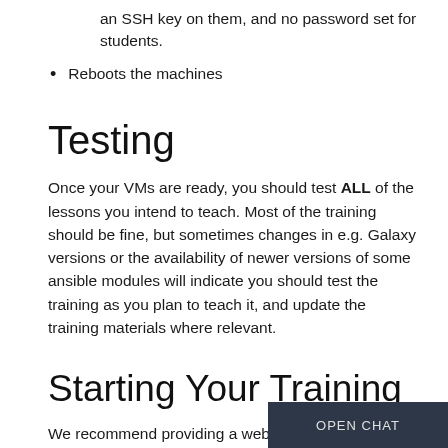an SSH key on them, and no password set for students.
Reboots the machines
Testing
Once your VMs are ready, you should test ALL of the lessons you intend to teach. Most of the training should be fine, but sometimes changes in e.g. Galaxy versions or the availability of newer versions of some ansible modules will indicate you should test the training as you plan to teach it, and update the training materials where relevant.
Starting Your Training
We recommend providing a website similar to our GitHub repository (or using our repository! Ask us for a branch.) with at minimum the following links: